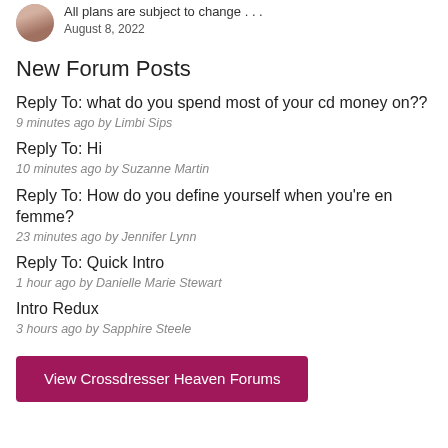[Figure (photo): Small circular avatar photo of a person]
All plans are subject to change . . .
August 8, 2022
New Forum Posts
Reply To: what do you spend most of your cd money on??
9 minutes ago by Limbi Sips
Reply To: Hi
10 minutes ago by Suzanne Martin
Reply To: How do you define yourself when you're en femme?
23 minutes ago by Jennifer Lynn
Reply To: Quick Intro
1 hour ago by Danielle Marie Stewart
Intro Redux
3 hours ago by Sapphire Steele
View Crossdresser Heaven Forums